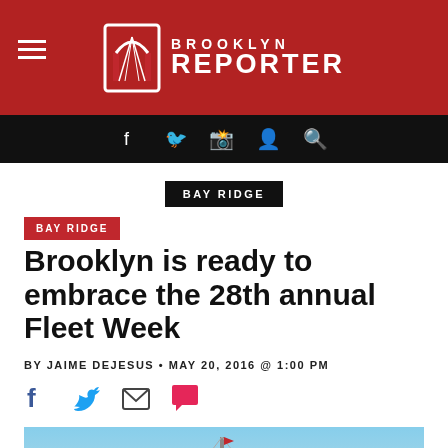Brooklyn Reporter
BAY RIDGE
Brooklyn is ready to embrace the 28th annual Fleet Week
BY JAIME DEJESUS • MAY 20, 2016 @ 1:00 PM
[Figure (photo): Social sharing icons: Facebook, Twitter, Email, Comment]